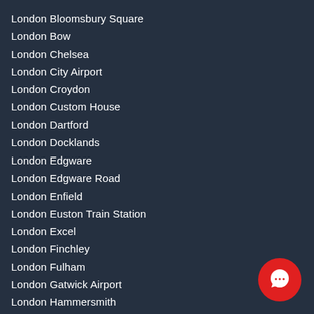London Bloomsbury Square
London Bow
London Chelsea
London City Airport
London Croydon
London Custom House
London Dartford
London Docklands
London Edgware
London Edgware Road
London Enfield
London Euston Train Station
London Excel
London Finchley
London Fulham
London Gatwick Airport
London Hammersmith
London Heathrow Airport
London Heathrow Terminal 5
London Hempstead
London Hyde Park
London Islington
London Kennington
[Figure (other): Red circular chat button with white speech bubble icon]